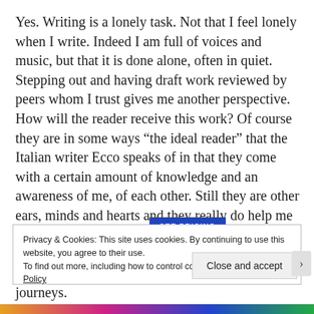Yes. Writing is a lonely task. Not that I feel lonely when I write. Indeed I am full of voices and music, but that it is done alone, often in quiet. Stepping out and having draft work reviewed by peers whom I trust gives me another perspective. How will the reader receive this work? Of course they are in some ways “the ideal reader” that the Italian writer Ecco speaks of in that they come with a certain amount of knowledge and an awareness of me, of each other. Still they are other ears, minds and hearts and they really do help me to see what I am doing and at times get unstuck in the poem or story. A trusted group comes with no agenda except to support each other in our writer journeys.
SEE PRICING
Privacy & Cookies: This site uses cookies. By continuing to use this website, you agree to their use.
To find out more, including how to control cookies, see here: Cookie Policy
Close and accept